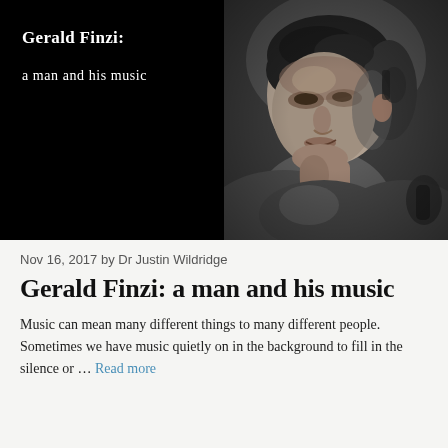[Figure (photo): Split image: left half is black panel with white text 'Gerald Finzi: a man and his music'; right half is a black-and-white portrait photograph of a man looking downward, in profile.]
Nov 16, 2017 by Dr Justin Wildridge
Gerald Finzi: a man and his music
Music can mean many different things to many different people. Sometimes we have music quietly on in the background to fill in the silence or … Read more